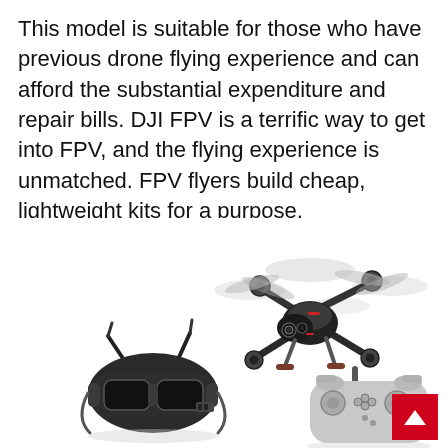This model is suitable for those who have previous drone flying experience and can afford the substantial expenditure and repair bills. DJI FPV is a terrific way to get into FPV, and the flying experience is unmatched. FPV flyers build cheap, lightweight kits for a purpose.
[Figure (photo): DJI FPV drone combo shown from a front-low angle in flight above, with FPV goggles headset on the lower left and a game-style remote controller on the lower right, all in dark gray and light gray colorways against a white background.]